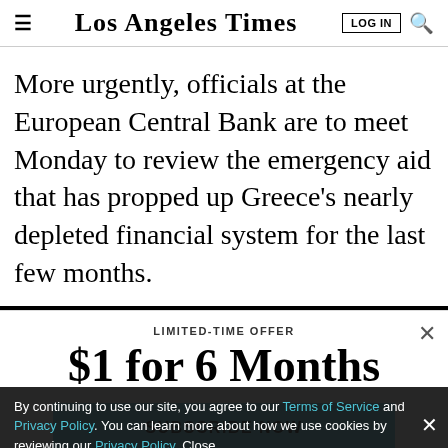Los Angeles Times
More urgently, officials at the European Central Bank are to meet Monday to review the emergency aid that has propped up Greece’s nearly depleted financial system for the last few months.
LIMITED-TIME OFFER
$1 for 6 Months
SUBSCRIBE NOW
By continuing to use our site, you agree to our Terms of Service and Privacy Policy. You can learn more about how we use cookies by reviewing our Privacy Policy. Close